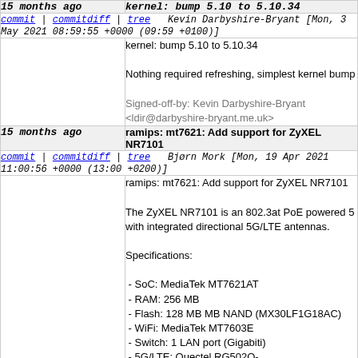| 15 months ago | kernel: bump 5.10 to 5.10.34 |
| commit | commitdiff | tree
Kevin Darbyshire-Bryant [Mon, 3 May 2021 08:59:55 +0000 (09:59 +0100)] |  |
|  | kernel: bump 5.10 to 5.10.34

Nothing required refreshing, simplest kernel bump

Signed-off-by: Kevin Darbyshire-Bryant <ldir@darbyshire-bryant.me.uk> |
| 15 months ago | ramips: mt7621: Add support for ZyXEL NR7101 |
| commit | commitdiff | tree
Bjørn Mork [Mon, 19 Apr 2021 11:00:56 +0000 (13:00 +0200)] |  |
|  | ramips: mt7621: Add support for ZyXEL NR7101

The ZyXEL NR7101 is an 802.3at PoE powered 5G with integrated directional 5G/LTE antennas.

Specifications:
- SoC: MediaTek MT7621AT
- RAM: 256 MB
- Flash: 128 MB MB NAND (MX30LF1G18AC)
- WiFi: MediaTek MT7603E
- Switch: 1 LAN port (Gigabiti)
- 5G/LTE: Quectel RG502Q- |